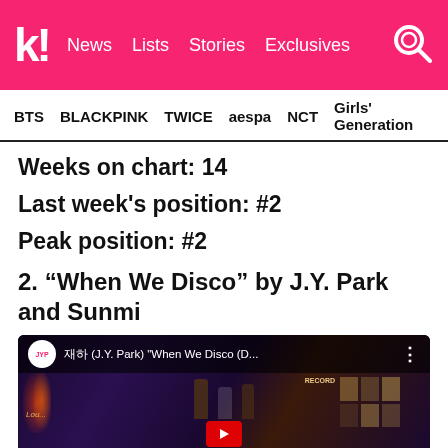K! News Lists Stories Exclusives
BTS BLACKPINK TWICE aespa NCT Girls' Generation
Weeks on chart: 14
Last week's position: #2
Peak position: #2
2. “When We Disco” by J.Y. Park and Sunmi
[Figure (screenshot): YouTube video embed thumbnail for J.Y. Park 'When We Disco (D...' showing JYP channel icon and a dark disco-themed music video scene]